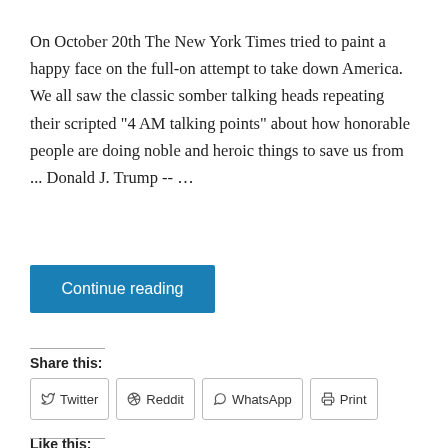On October 20th The New York Times tried to paint a happy face on the full-on attempt to take down America. We all saw the classic somber talking heads repeating their scripted "4 AM talking points" about how honorable people are doing noble and heroic things to save us from ... Donald J. Trump -- …
Continue reading
Share this:
Twitter
Reddit
WhatsApp
Print
Like this:
Loading...